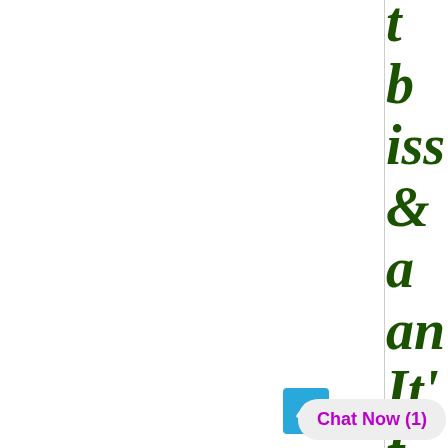iss & a an
It' f
[Figure (screenshot): Chat Now (1) button with blue arrow-up icon, displayed in a web interface overlay]